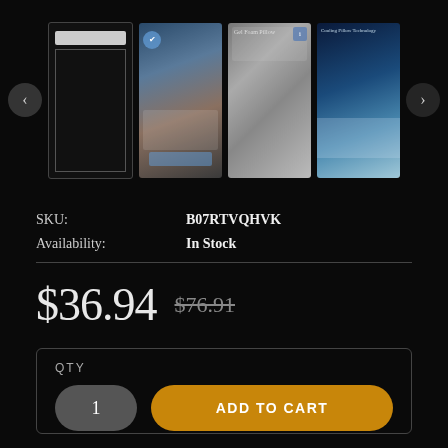[Figure (screenshot): Product image carousel with 4 thumbnail images of bedding/pillow product. Left navigation arrow, then 4 thumbnails: first blank/browser placeholder, second shows person sleeping with grey blanket and blue badge, third shows grey fabric texture, fourth shows person sleeping with cooling effect. Right navigation arrow visible.]
SKU:    B07RTVQHVK
Availability:    In Stock
$36.94  $76.91
QTY
1
ADD TO CART